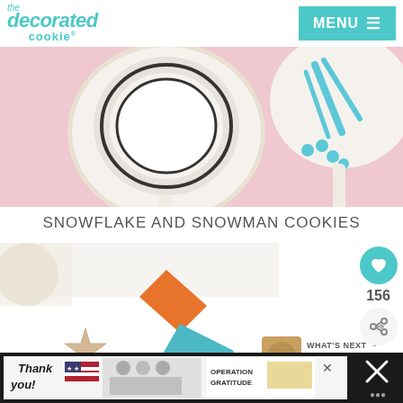the decorated cookie — MENU
[Figure (photo): Close-up photo of decorated cookies on sticks against pink background: a snowman face cookie (round, white with dark outline) and a snowflake cookie (white with teal/blue decorations)]
SNOWFLAKE AND SNOWMAN COOKIES
[Figure (photo): Photo of star-shaped cookie with orange and teal icing piping bags on white surface]
156
WHAT'S NEXT → chocolate chip cookie ice...
[Figure (photo): Advertisement banner: Thank you Operation Gratitude with healthcare workers holding packages]
[Figure (photo): Small thumbnail of chocolate chip cookie ice cream]